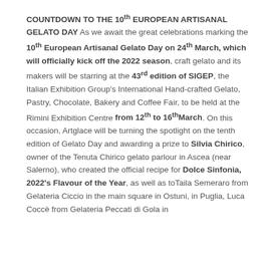COUNTDOWN TO THE 10th EUROPEAN ARTISANAL GELATO DAY As we await the great celebrations marking the 10th European Artisanal Gelato Day on 24th March, which will officially kick off the 2022 season, craft gelato and its makers will be starring at the 43rd edition of SIGEP, the Italian Exhibition Group's International Hand-crafted Gelato, Pastry, Chocolate, Bakery and Coffee Fair, to be held at the Rimini Exhibition Centre from 12th to 16thMarch. On this occasion, Artglace will be turning the spotlight on the tenth edition of Gelato Day and awarding a prize to Silvia Chirico, owner of the Tenuta Chirico gelato parlour in Ascea (near Salerno), who created the official recipe for Dolce Sinfonia, 2022's Flavour of the Year, as well as toTaila Semeraro from Gelateria Ciccio in the main square in Ostuni, in Puglia, Luca Coccè from Gelateria Peccati di Gola in